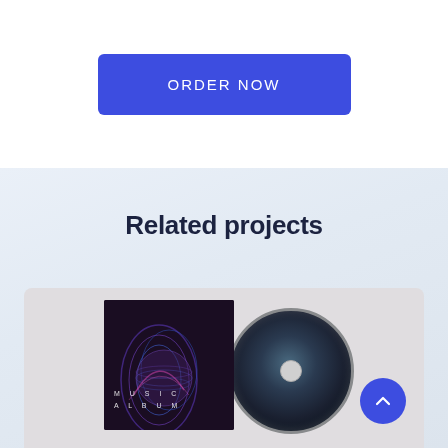ORDER NOW
Related projects
[Figure (photo): Music album mockup showing a dark album cover with 'MUSIC ALBUM' text and abstract blue/purple wave art, with a dark CD disc visible behind the cover, on a light grey background]
[Figure (other): Blue circular scroll-to-top button with an upward-pointing chevron icon]